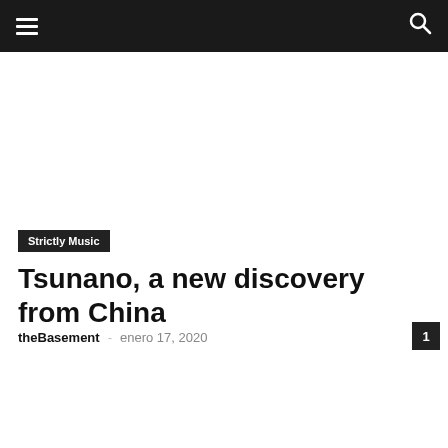☰  🔍
Strictly Music
Tsunano, a new discovery from China
theBasement · enero 17, 2020  1